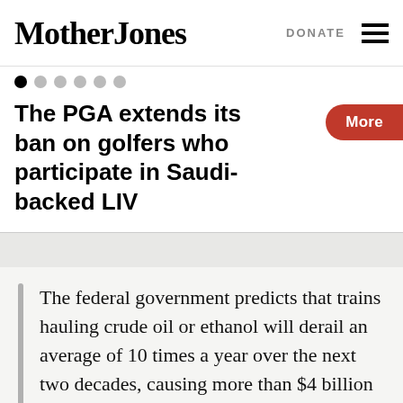Mother Jones | DONATE
The PGA extends its ban on golfers who participate in Saudi-backed LIV
The federal government predicts that trains hauling crude oil or ethanol will derail an average of 10 times a year over the next two decades, causing more than $4 billion in damage and possibly killing hundreds of people if an accident happens in a densely populated part of the U.S....